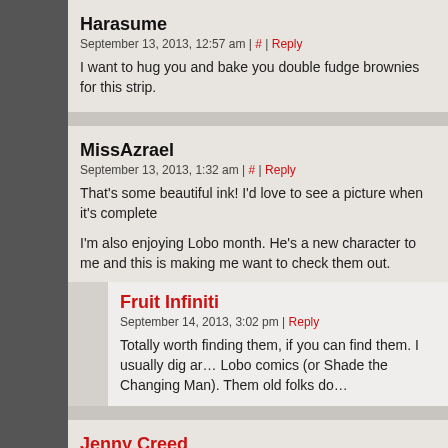Harasume
September 13, 2013, 12:57 am | # | Reply
I want to hug you and bake you double fudge brownies for this strip.
MissAzrael
September 13, 2013, 1:32 am | # | Reply
That's some beautiful ink! I'd love to see a picture when it's complete
I'm also enjoying Lobo month. He's a new character to me and this is making me want to check them out.
Fruit Infiniti
September 14, 2013, 3:02 pm | Reply
Totally worth finding them, if you can find them. I usually dig around for old Lobo comics (or Shade the Changing Man). Them old folks don't
Jenny Creed
September 13, 2013, 3:29 am | # | Reply
Is he going to french kiss the toaster, conducting the current from his That's the most Lobo way to commit a murder-suicide I've ever seen.